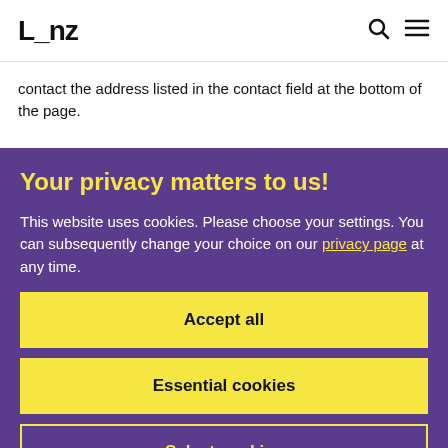L_nz
contact the address listed in the contact field at the bottom of the page.
Your privacy matters to us!
This website uses cookies. Please choose your settings. You can subsequently change your choice on our privacy page at any time.
Accept all
Essential cookies
Select cookies